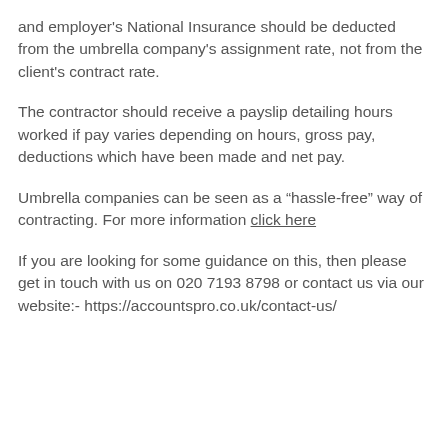and employer's National Insurance should be deducted from the umbrella company's assignment rate, not from the client's contract rate.
The contractor should receive a payslip detailing hours worked if pay varies depending on hours, gross pay, deductions which have been made and net pay.
Umbrella companies can be seen as a “hassle-free” way of contracting. For more information click here
If you are looking for some guidance on this, then please get in touch with us on 020 7193 8798 or contact us via our website:- https://accountspro.co.uk/contact-us/